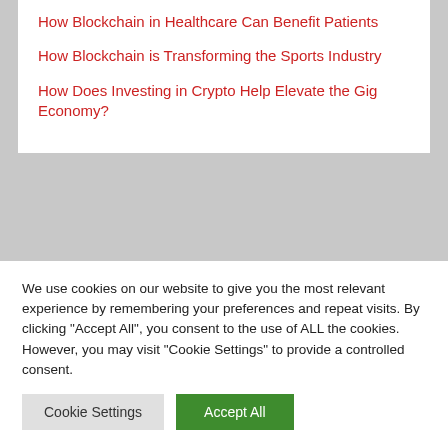How Blockchain in Healthcare Can Benefit Patients
How Blockchain is Transforming the Sports Industry
How Does Investing in Crypto Help Elevate the Gig Economy?
Recent Comments
We use cookies on our website to give you the most relevant experience by remembering your preferences and repeat visits. By clicking "Accept All", you consent to the use of ALL the cookies. However, you may visit "Cookie Settings" to provide a controlled consent.
Cookie Settings | Accept All